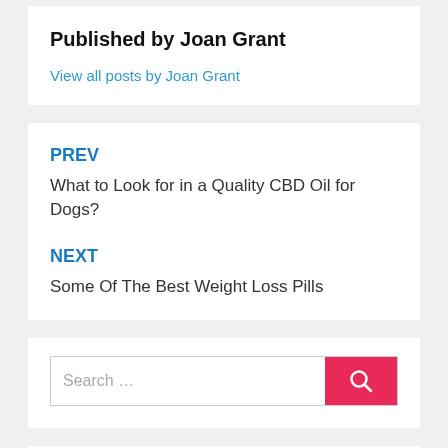Published by Joan Grant
View all posts by Joan Grant
PREV
What to Look for in a Quality CBD Oil for Dogs?
NEXT
Some Of The Best Weight Loss Pills
Search ...